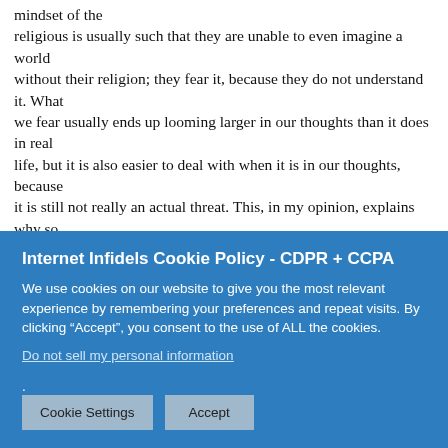mindset of the religious is usually such that they are unable to even imagine a world without their religion; they fear it, because they do not understand it. What we fear usually ends up looming larger in our thoughts than it does in real life, but it is also easier to deal with when it is in our thoughts, because it is still not really an actual threat. This, in my opinion, explains why so many Christians refuse to learn anything about atheism from atheists, and rely on their pastors or priests; a pastor or priest will pander to
Internet Infidels Cookie Policy - CDPR + CCPA
We use cookies on our website to give you the most relevant experience by remembering your preferences and repeat visits. By clicking "Accept", you consent to the use of ALL the cookies.
Do not sell my personal information.
Cookie Settings   Accept